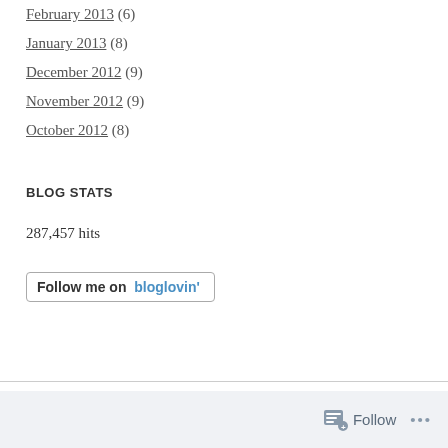February 2013 (6)
January 2013 (8)
December 2012 (9)
November 2012 (9)
October 2012 (8)
BLOG STATS
287,457 hits
[Figure (other): Follow me on bloglovin' button — a styled hyperlink button with border, bold text 'Follow me on' and blue text 'bloglovin']
Follow ...